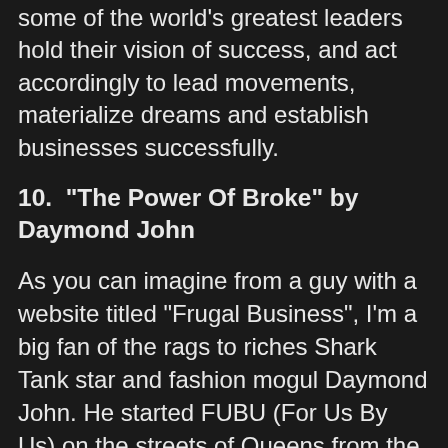some of the world's greatest leaders hold their vision of success, and act accordingly to lead movements, materialize dreams and establish businesses successfully.
10.  "The Power Of Broke" by Daymond John
As you can imagine from a guy with a website titled "Frugal Business", I'm a big fan of the rags to riches Shark Tank star and fashion mogul Daymond John. He started FUBU (For Us By Us) on the streets of Queens from the ground up by himself with almost no funds and turned it into a multi-billion dollar brand. He started selling clothes out of his car and now he owns more cars than you can imagine. He's currently a successful investor in dozens of businesses spanning a variety of industries. The Power Of Broke is a tribute to the success that can be achieved with enough hustle, creativity, resolve, resilience, and